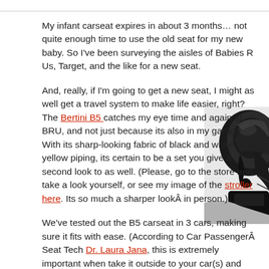My infant carseat expires in about 3 months… not quite enough time to use the old seat for my new baby. So I've been surveying the aisles of Babies R Us, Target, and the like for a new seat.
And, really, if I'm going to get a new seat, I might as well get a travel system to make life easier, right? The Bertini B5 catches my eye time and again at BRU, and not just because its also in my garage. With its sharp-looking fabric of black and white with yellow piping, its certain to be a set you give a second look to as well. (Please, go to the store and take a look yourself, or see my image of the stroller here. Its so much a sharper lookÂ in person.)
[Figure (photo): Partial view of a black and white Bertini B5 stroller/carseat in the upper right corner of the page]
We've tested out the B5 carseat in 3 cars, making sure it fits with ease. (According to Car PassengerÂ Seat Tech Dr. Laura Jana, this is extremely important when take it outside to your car(s) and make sure its a comfortable fit.) Surpris Roundabout and a Britax Marathon 3-across in the second row of my Ho extremely tight, but it was doable.Â  In the VW Routan (image here) whic